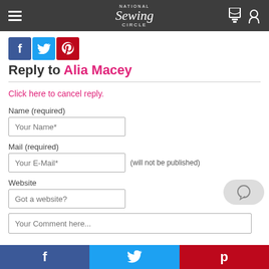National Sewing Circle
[Figure (logo): Social media sharing icons: Facebook (blue), Twitter (light blue), Pinterest (red)]
Reply to Alia Macey
Click here to cancel reply.
Name (required)
Your Name*
Mail (required)
Your E-Mail* (will not be published)
Website
Got a website?
Your Comment here...
f  Twitter bird  p